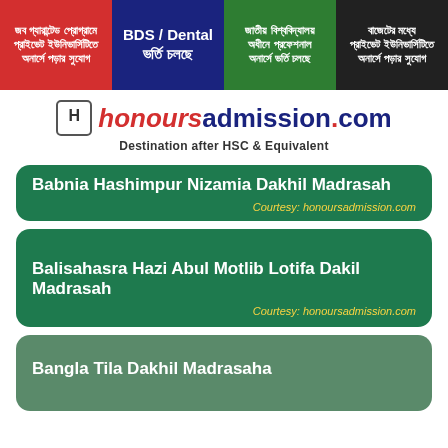[Figure (infographic): Four banner ads in Bengali: Job Guaranteed Program at Private Universities, BDS/Dental Admission, National University Professional Honours Admission, Budget-friendly Private University Honours Admission]
[Figure (logo): honoursadmission.com logo with tagline Destination after HSC & Equivalent]
Babnia Hashimpur Nizamia Dakhil Madrasah
Courtesy: honoursadmission.com
Balisahasra Hazi Abul Motlib Lotifa Dakil Madrasah
Courtesy: honoursadmission.com
Bangla Tila Dakhil Madrasah